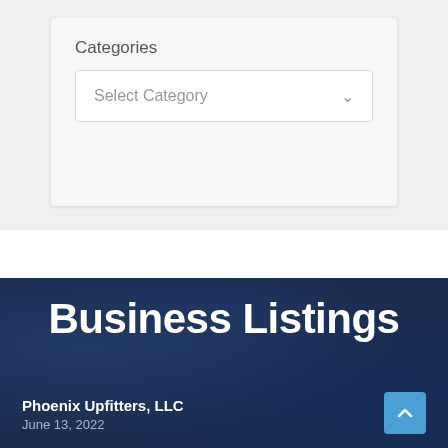Categories
Select Category
Business Listings
Phoenix Upfitters, LLC
June 13, 2022